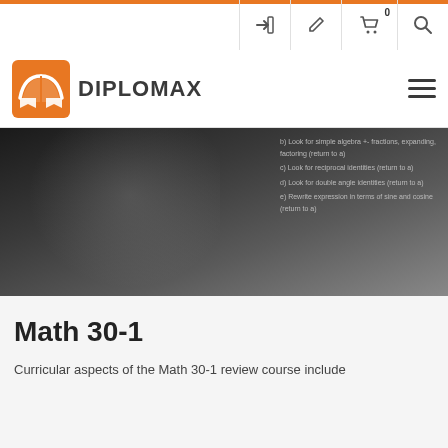DIPLOMAX
[Figure (screenshot): A blurred video thumbnail showing a person (instructor) in front of a board with overlay text listing math strategies: b) Look for simple algebra +- fractions, expanding, factoring (return to a), c) Look for reciprocal identities (return to a), d) Look for double angle identities (return to a), e) Rewrite expression in terms of sine and cosine (return to a).]
Math 30-1
Curricular aspects of the Math 30-1 review course include